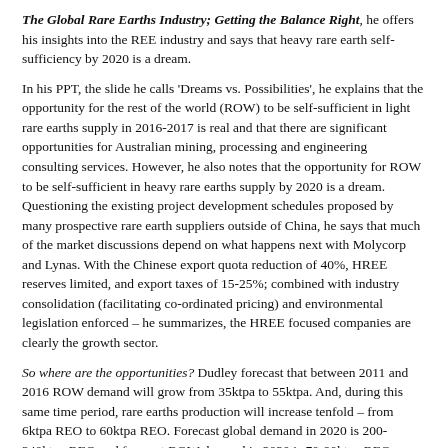The Global Rare Earths Industry; Getting the Balance Right, he offers his insights into the REE industry and says that heavy rare earth self-sufficiency by 2020 is a dream.
In his PPT, the slide he calls 'Dreams vs. Possibilities', he explains that the opportunity for the rest of the world (ROW) to be self-sufficient in light rare earths supply in 2016-2017 is real and that there are significant opportunities for Australian mining, processing and engineering consulting services. However, he also notes that the opportunity for ROW to be self-sufficient in heavy rare earths supply by 2020 is a dream. Questioning the existing project development schedules proposed by many prospective rare earth suppliers outside of China, he says that much of the market discussions depend on what happens next with Molycorp and Lynas. With the Chinese export quota reduction of 40%, HREE reserves limited, and export taxes of 15-25%; combined with industry consolidation (facilitating co-ordinated pricing) and environmental legislation enforced – he summarizes, the HREE focused companies are clearly the growth sector.
So where are the opportunities? Dudley forecast that between 2011 and 2016 ROW demand will grow from 35ktpa to 55ktpa. And, during this same time period, rare earths production will increase tenfold – from 6ktpa REO to 60ktpa REO. Forecast global demand in 2020 is 200-240ktpa REO and forecast ROW demand in 2020 is 70-90ktpa REO; so there is an opportunity for ROW producers to increase production between 2016 and 2020 by 50% to meet potential ROW demand.
In looking at the shape of the REE industry by 2016, Dudley says that